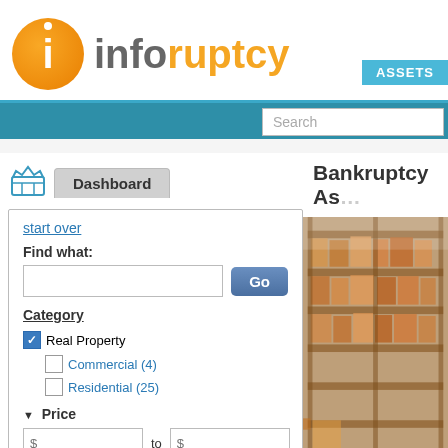[Figure (logo): Inforuptcy logo: orange circle with white 'i' icon, followed by 'info' in gray and 'ruptcy' in orange]
ASSETS
Search
Dashboard
Bankruptcy As...
start over
Find what:
Go
Category
Real Property
Commercial (4)
Residential (25)
▼ Price
[Figure (photo): Warehouse interior with shelving racks filled with boxes/inventory]